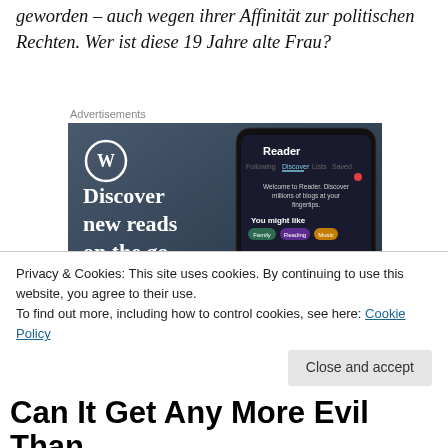geworden – auch wegen ihrer Affinität zur politischen Rechten. Wer ist diese 19 Jahre alte Frau?
Advertisements
[Figure (screenshot): WordPress app advertisement showing 'Discover new reads on the go.' with WordPress logo and phone mockup showing Reader interface]
Privacy & Cookies: This site uses cookies. By continuing to use this website, you agree to their use. To find out more, including how to control cookies, see here: Cookie Policy
Close and accept
Can It Get Any More Evil Than